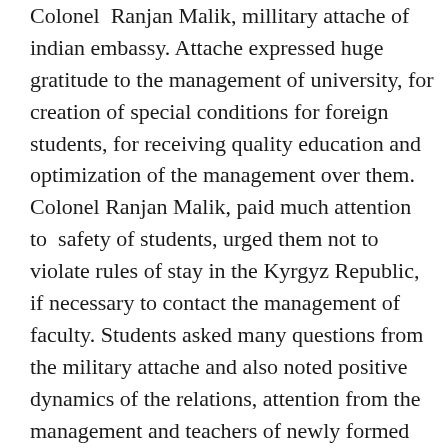Colonel Ranjan Malik, millitary attache of indian embassy. Attache expressed huge gratitude to the management of university, for creation of special conditions for foreign students, for receiving quality education and optimization of the management over them. Colonel Ranjan Malik, paid much attention to safety of students, urged them not to violate rules of stay in the Kyrgyz Republic, if necessary to contact the management of faculty. Students asked many questions from the military attache and also noted positive dynamics of the relations, attention from the management and teachers of newly formed International medical faculty. After a 2-hours meeting, the dean of International medical faculty Kalmatov R. K. acquainted the colonel Ranjan Malik with the